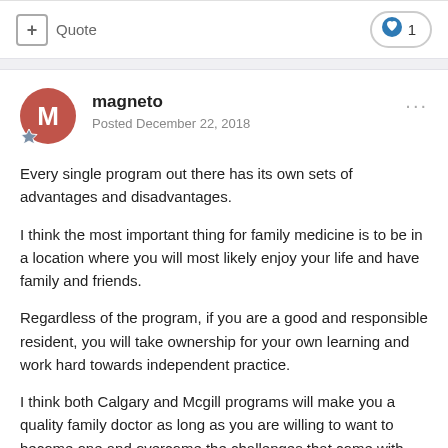+ Quote | ♥ 1
magneto
Posted December 22, 2018
Every single program out there has its own sets of advantages and disadvantages.
I think the most important thing for family medicine is to be in a location where you will most likely enjoy your life and have family and friends.
Regardless of the program, if you are a good and responsible resident, you will take ownership for your own learning and work hard towards independent practice.
I think both Calgary and Mcgill programs will make you a quality family doctor as long as you are willing to want to become one and overcome the challenges that come with the individual